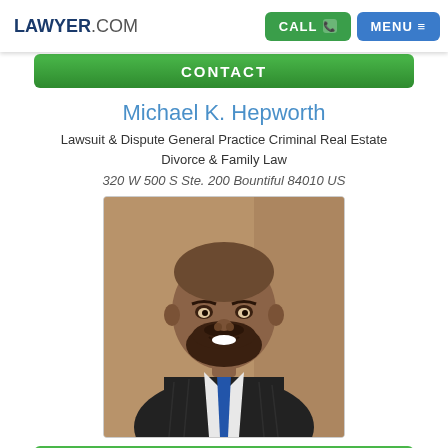LAWYER.COM | CALL | MENU
CONTACT
Michael K. Hepworth
Lawsuit & Dispute General Practice Criminal Real Estate Divorce & Family Law
320 W 500 S Ste. 200 Bountiful 84010 US
[Figure (photo): Professional headshot of Michael K. Hepworth, a man with dark hair and beard wearing a dark pinstripe suit with a blue tie, smiling at the camera against a brown background.]
CONTACT
Tyler S Call